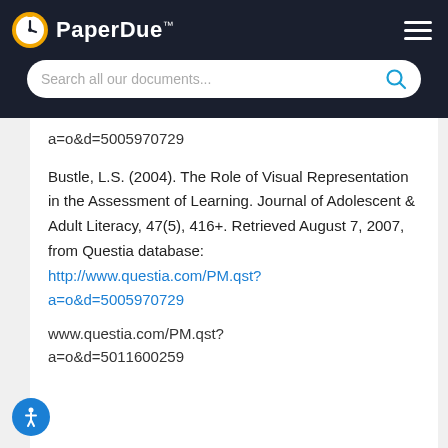PaperDue™
a=o&d=5005970729
Bustle, L.S. (2004). The Role of Visual Representation in the Assessment of Learning. Journal of Adolescent & Adult Literacy, 47(5), 416+. Retrieved August 7, 2007, from Questia database:  http://www.questia.com/PM.qst?a=o&d=5005970729
www.questia.com/PM.qst?
a=o&d=5011600259